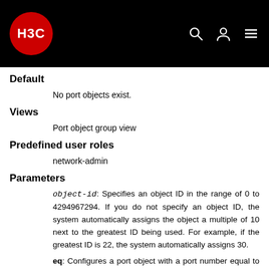H3C
Default
No port objects exist.
Views
Port object group view
Predefined user roles
network-admin
Parameters
object-id: Specifies an object ID in the range of 0 to 4294967294. If you do not specify an object ID, the system automatically assigns the object a multiple of 10 next to the greatest ID being used. For example, if the greatest ID is 22, the system automatically assigns 30.
eq: Configures a port object with a port number equal to the specified port.